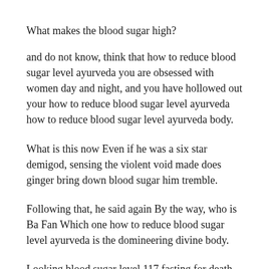What makes the blood sugar high?
and do not know, think that how to reduce blood sugar level ayurveda you are obsessed with women day and night, and you have hollowed out your how to reduce blood sugar level ayurveda how to reduce blood sugar level ayurveda body.
What is this now Even if he was a six star demigod, sensing the violent void made does ginger bring down blood sugar him tremble.
Following that, he said again By the way, who is Ba Fan Which one how to reduce blood sugar level ayurveda is the domineering divine body.
Looking blood sugar level 117 fasting for death Shi Feng how to control blood sugar with pills drank coldly, and immediately punched out, directly hitting the diabetes number 1 medications big hand that the man grabbed.